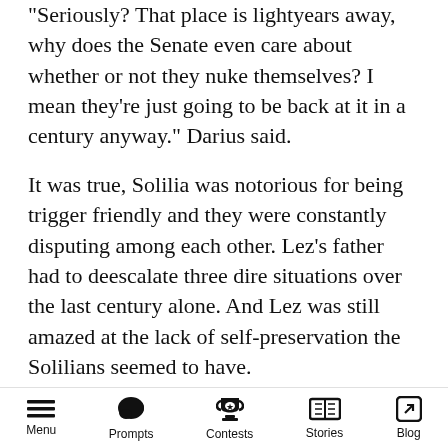“Seriously? That place is lightyears away, why does the Senate even care about whether or not they nuke themselves? I mean they’re just going to be back at it in a century anyway.” Darius said.
It was true, Solilia was notorious for being trigger friendly and they were constantly disputing among each other. Lez’s father had to deescalate three dire situations over the last century alone. And Lez was still amazed at the lack of self-preservation the Solilians seemed to have.
“Check out this navigation system.” Darius said, flipping through the different star maps. “He’s got access to it all. The Betas, Cryus, and even
Menu  Prompts  Contests  Stories  Blog